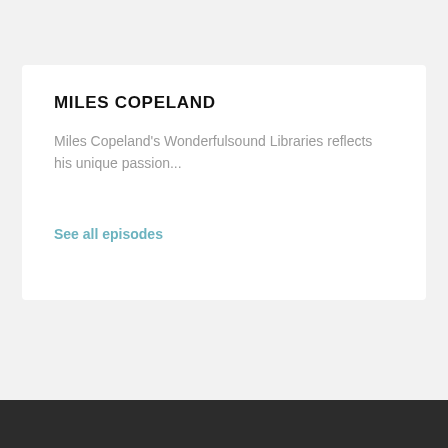MILES COPELAND
Miles Copeland's Wonderfulsound Libraries reflects his unique passion...
See all episodes